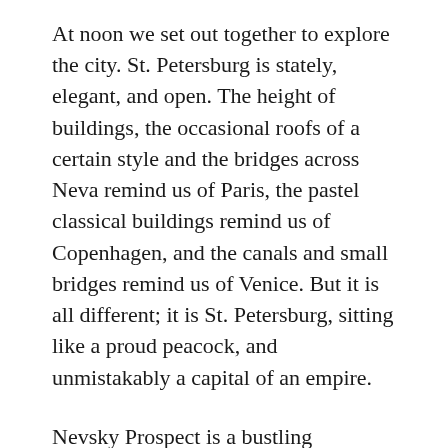At noon we set out together to explore the city. St. Petersburg is stately, elegant, and open. The height of buildings, the occasional roofs of a certain style and the bridges across Neva remind us of Paris, the pastel classical buildings remind us of Copenhagen, and the canals and small bridges remind us of Venice. But it is all different; it is St. Petersburg, sitting like a proud peacock, and unmistakably a capital of an empire.
Nevsky Prospect is a bustling promenade. Lots of people and traffic. We take a boat trip, which is a must for every tourist. The boat takes us on Neva and on the canals, but we later discover that the woman running the show lied to us